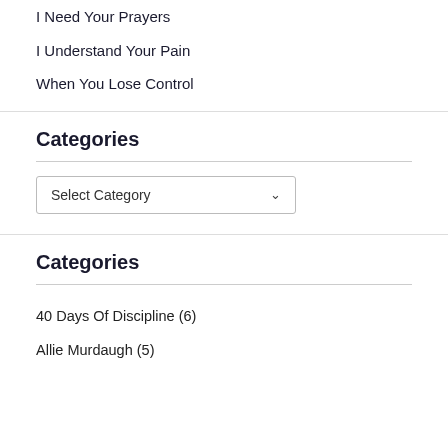I Need Your Prayers
I Understand Your Pain
When You Lose Control
Categories
Select Category
Categories
40 Days Of Discipline (6)
Allie Murdaugh (5)